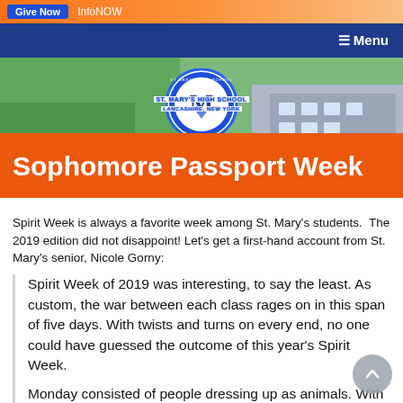Give Now | InfoNOW
≡ Menu
[Figure (photo): Aerial view of St. Mary's High School campus with green lawn and building visible; school logo/seal centered over image]
Sophomore Passport Week
Spirit Week is always a favorite week among St. Mary's students.  The 2019 edition did not disappoint! Let's get a first-hand account from St. Mary's senior, Nicole Gorny:
Spirit Week of 2019 was interesting, to say the least. As custom, the war between each class rages on in this span of five days. With twists and turns on every end, no one could have guessed the outcome of this year's Spirit Week.
Monday consisted of people dressing up as animals. With exciting costumes like dinosaurs